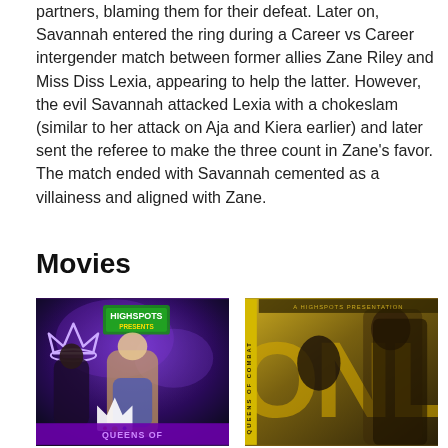partners, blaming them for their defeat. Later on, Savannah entered the ring during a Career vs Career intergender match between former allies Zane Riley and Miss Diss Lexia, appearing to help the latter. However, the evil Savannah attacked Lexia with a chokeslam (similar to her attack on Aja and Kiera earlier) and later sent the referee to make the three count in Zane's favor. The match ended with Savannah cemented as a villainess and aligned with Zane.
Movies
[Figure (photo): Movie poster for a wrestling DVD - Queens of Combat, featuring female wrestlers with a crown logo on a purple/dark background with Highspots Presents logo]
[Figure (photo): Movie poster featuring female wrestler on yellow/olive background with Queens of Combat branding and large yellow text]